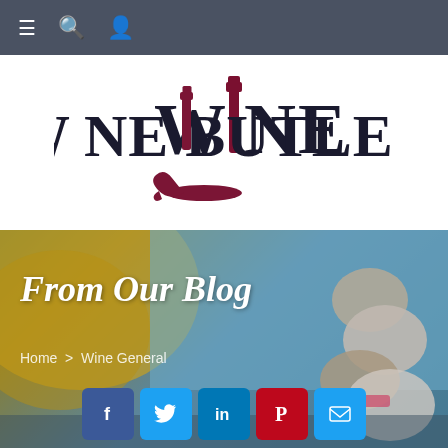Navigation bar with menu, search, and user icons
[Figure (logo): Wine Butler logo: large serif text 'WINE BUTLER' with a wine bottle replacing the 'I' in WINE, and a butler hand holding a tray below]
From Our Blog
Home > Wine General
[Figure (illustration): Background image showing grapes/stones on the right and yellow/green foliage on the left with blue sky]
Social sharing buttons: Facebook, Twitter, LinkedIn, Pinterest, Email